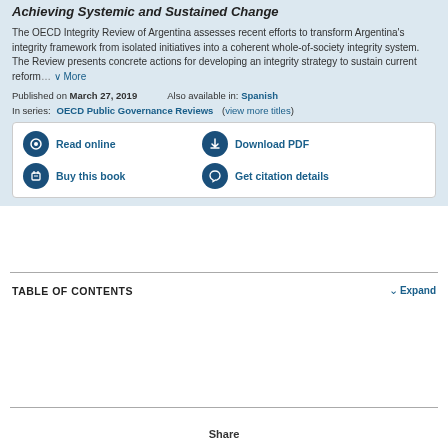Achieving Systemic and Sustained Change
The OECD Integrity Review of Argentina assesses recent efforts to transform Argentina's integrity framework from isolated initiatives into a coherent whole-of-society integrity system. The Review presents concrete actions for developing an integrity strategy to sustain current reform… More
Published on March 27, 2019    Also available in: Spanish
In series:  OECD Public Governance Reviews  ( view more titles )
[Figure (infographic): Action buttons: Read online, Download PDF, Buy this book, Get citation details]
TABLE OF CONTENTS
Expand
Share